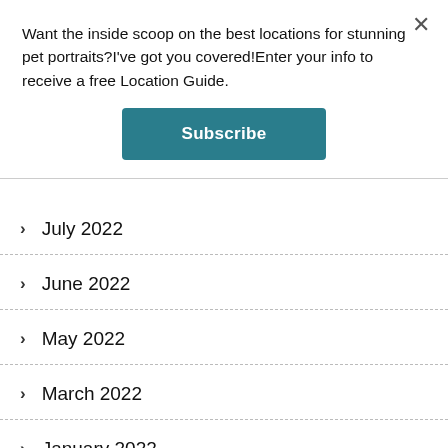Want the inside scoop on the best locations for stunning pet portraits?I've got you covered!Enter your info to receive a free Location Guide.
Subscribe
July 2022
June 2022
May 2022
March 2022
January 2022